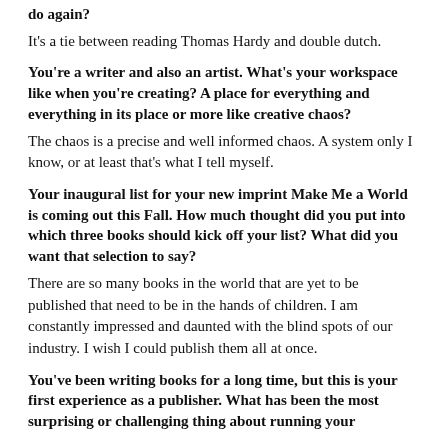do again?
It's a tie between reading Thomas Hardy and double dutch.
You're a writer and also an artist. What's your workspace like when you're creating? A place for everything and everything in its place or more like creative chaos?
The chaos is a precise and well informed chaos. A system only I know, or at least that's what I tell myself.
Your inaugural list for your new imprint Make Me a World is coming out this Fall. How much thought did you put into which three books should kick off your list? What did you want that selection to say?
There are so many books in the world that are yet to be published that need to be in the hands of children. I am constantly impressed and daunted with the blind spots of our industry. I wish I could publish them all at once.
You've been writing books for a long time, but this is your first experience as a publisher. What has been the most surprising or challenging thing about running your